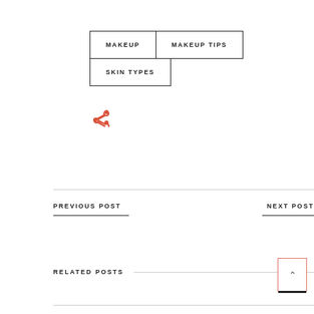MAKEUP
MAKEUP TIPS
SKIN TYPES
[Figure (other): Share icon (social share button) in coral/orange-red color]
PREVIOUS POST
NEXT POST
RELATED POSTS